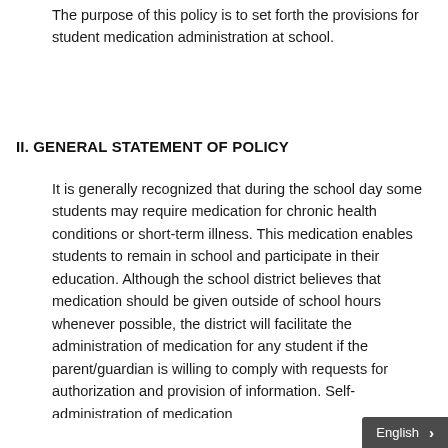II. GENERAL STATEMENT OF POLICY
The purpose of this policy is to set forth the provisions for student medication administration at school.
It is generally recognized that during the school day some students may require medication for chronic health conditions or short-term illness. This medication enables students to remain in school and participate in their education. Although the school district believes that medication should be given outside of school hours whenever possible, the district will facilitate the administration of medication for any student if the parent/guardian is willing to comply with requests for authorization and provision of information. Self-administration of medication